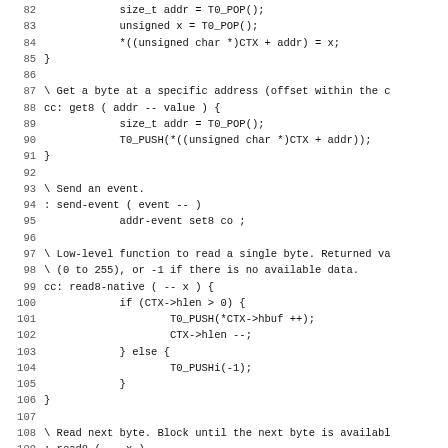Source code listing, lines 82–114, showing Forth/C mixed code for byte access and I/O operations.